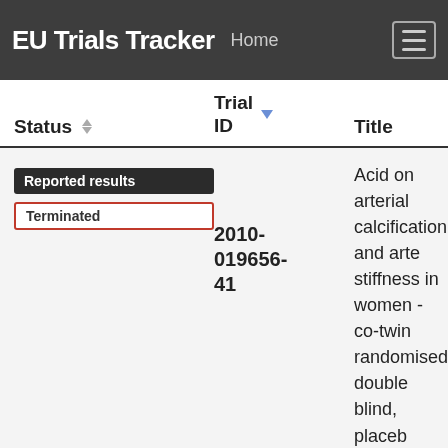EU Trials Tracker  Home
| Status | Trial ID | Title |
| --- | --- | --- |
| Reported results / Terminated | 2010-019656-41 | Acid on arterial calcification and arterial stiffness in women - co-twin randomised double blind, placebo controlled parallel group clinical trial |
|  | 2010- | A randomised, double blind, crossover study to determine the |